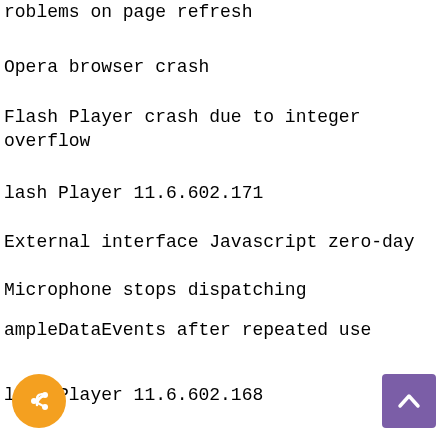roblems on page refresh
Opera browser crash
Flash Player crash due to integer overflow
lash Player 11.6.602.171
External interface Javascript zero-day
Microphone stops dispatching
ampleDataEvents after repeated use
lash Player 11.6.602.168
In applications which utilize the Concurrency feature, a crash can occur when sending a large amount of shared properties between workers
On Windows XP, microphone is not recognized or input to a stream
On Windows XP, there are...